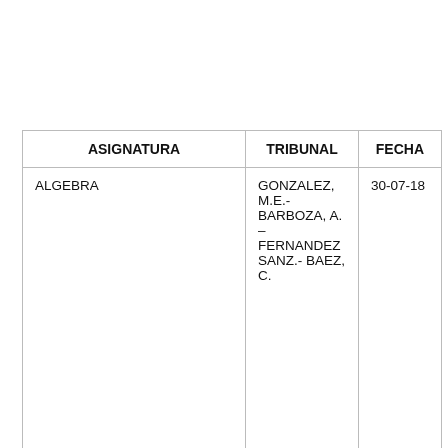| ASIGNATURA | TRIBUNAL | FECHA |
| --- | --- | --- |
| ALGEBRA | GONZALEZ, M.E.- BARBOZA, A. – FERNANDEZ SANZ.- BAEZ, C. | 30-07-18 |
| GEOMETRIA ANALITICA… | ELIZARETTI… | 31-07-… |